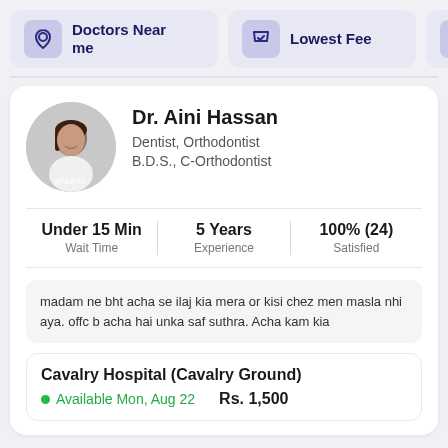Doctors Near me
Lowest Fee
Dr. Aini Hassan
Dentist, Orthodontist
B.D.S., C-Orthodontist
Under 15 Min
Wait Time
5 Years
Experience
100% (24)
Satisfied
madam ne bht acha se ilaj kia mera or kisi chez men masla nhi aya. offc b acha hai unka saf suthra. Acha kam kia
Cavalry Hospital (Cavalry Ground)
Available Mon, Aug 22    Rs. 1,500